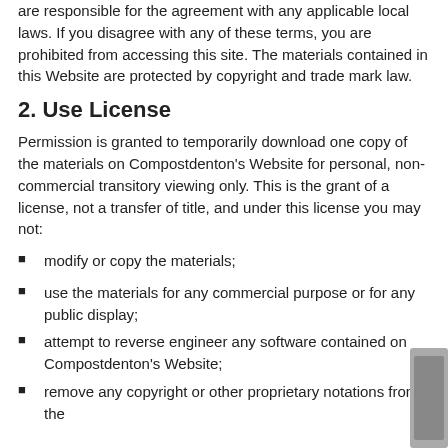are responsible for the agreement with any applicable local laws. If you disagree with any of these terms, you are prohibited from accessing this site. The materials contained in this Website are protected by copyright and trade mark law.
2. Use License
Permission is granted to temporarily download one copy of the materials on Compostdenton's Website for personal, non-commercial transitory viewing only. This is the grant of a license, not a transfer of title, and under this license you may not:
modify or copy the materials;
use the materials for any commercial purpose or for any public display;
attempt to reverse engineer any software contained on Compostdenton's Website;
remove any copyright or other proprietary notations from the materials;